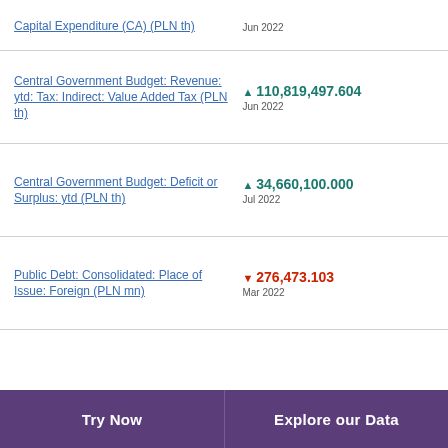Capital Expenditure (CA) (PLN th)
Central Government Budget: Revenue: ytd: Tax: Indirect: Value Added Tax (PLN th)
Central Government Budget: Deficit or Surplus: ytd (PLN th)
Public Debt: Consolidated: Place of Issue: Foreign (PLN mn)
Try Now | Explore our Data